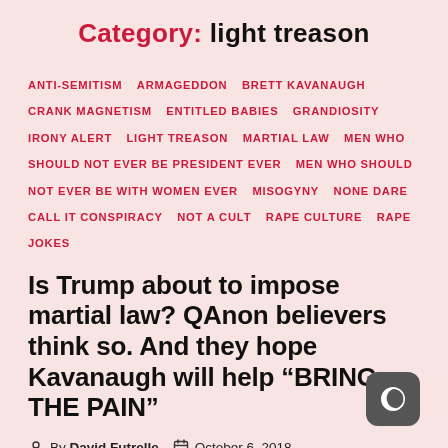Category: light treason
ANTI-SEMITISM  ARMAGEDDON  BRETT KAVANAUGH  CRANK MAGNETISM  ENTITLED BABIES  GRANDIOSITY  IRONY ALERT  LIGHT TREASON  MARTIAL LAW  MEN WHO SHOULD NOT EVER BE PRESIDENT EVER  MEN WHO SHOULD NOT EVER BE WITH WOMEN EVER  MISOGYNY  NONE DARE CALL IT CONSPIRACY  NOT A CULT  RAPE CULTURE  RAPE JOKES
Is Trump about to impose martial law? QAnon believers think so. And they hope Kavanaugh will help “BRING THE PAIN”
By David Futrelle  October 6, 2018  64 Comments